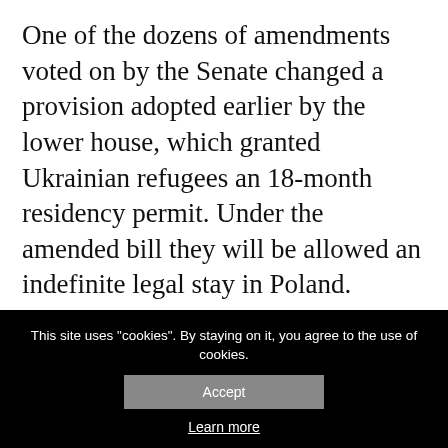One of the dozens of amendments voted on by the Senate changed a provision adopted earlier by the lower house, which granted Ukrainian refugees an 18-month residency permit. Under the amended bill they will be allowed an indefinite legal stay in Poland. Pursuant to the Act, after nine months, refugees whose stay has been recognized as legal may apply for a temporary residency permit for a period of three years.
This site uses "cookies". By staying on it, you agree to the use of cookies.
Accept
Learn more